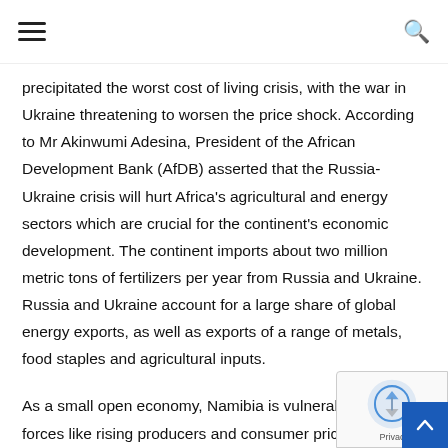[hamburger menu] [search icon]
precipitated the worst cost of living crisis, with the war in Ukraine threatening to worsen the price shock. According to Mr Akinwumi Adesina, President of the African Development Bank (AfDB) asserted that the Russia-Ukraine crisis will hurt Africa's agricultural and energy sectors which are crucial for the continent's economic development. The continent imports about two million metric tons of fertilizers per year from Russia and Ukraine. Russia and Ukraine account for a large share of global energy exports, as well as exports of a range of metals, food staples and agricultural inputs.
As a small open economy, Namibia is vulnerable to global forces like rising producers and consumer price inflation. Local electricity and fuel prices are increasing while weakness in the Namibia Dollar is always a real risk. The volatile exchange rate is at the mercy of international financial market sentiment and could...